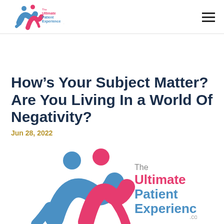The Ultimate Patient Experience .com
How’s Your Subject Matter? Are You Living In a World Of Negativity?
Jun 28, 2022
[Figure (logo): The Ultimate Patient Experience logo — two stylized figures in blue and pink with text 'The Ultimate Patient Experience .com']